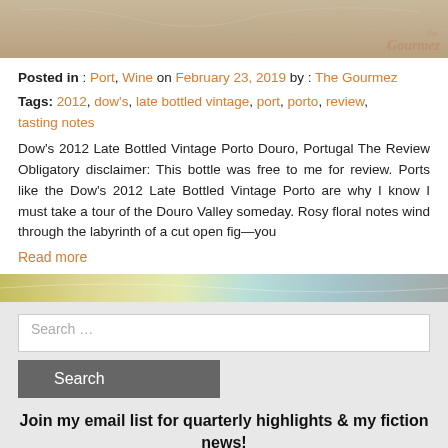[Figure (photo): Top partial image showing a food/beverage item with 'the Gourmez' watermark in bottom right corner]
Posted in : Port, Wine on February 23, 2019 by : The Gourmez
Tags: 2012, dow's, late bottled vintage, port, porto, review, tasting notes
Dow's 2012 Late Bottled Vintage Porto Douro, Portugal The Review Obligatory disclaimer: This bottle was free to me for review. Ports like the Dow's 2012 Late Bottled Vintage Porto are why I know I must take a tour of the Douro Valley someday. Rosy floral notes wind through the labyrinth of a cut open fig—you
Read more
[Figure (other): Decorative horizontal divider band with gold, teal, and gray gradient colors]
Search ...
Search
Join my email list for quarterly highlights & my fiction news!
email address